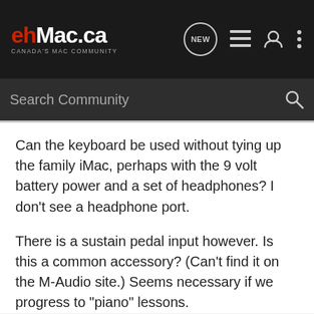ehMac.ca - Canada's Mac Community
Search Community
Can the keyboard be used without tying up the family iMac, perhaps with the 9 volt battery power and a set of headphones? I don't see a headphone port.
There is a sustain pedal input however. Is this a common accessory? (Can't find it on the M-Audio site.) Seems necessary if we progress to "piano" lessons.
"BY ACCEPTING THIS BRICK THROUGH YOUR WINDOW, YOU ACCEPT IT AS IS AND AGREE TO MY DISCLAIMER OF ALL